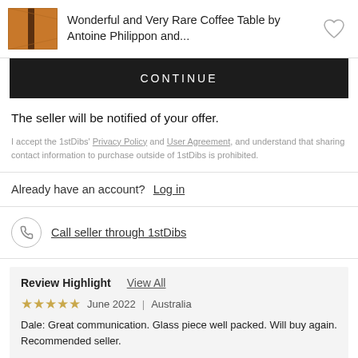[Figure (photo): Product image of a wooden coffee table thumbnail, angled view showing brown wood with dark inlay strip]
Wonderful and Very Rare Coffee Table by Antoine Philippon and...
CONTINUE
The seller will be notified of your offer.
I accept the 1stDibs' Privacy Policy and User Agreement, and understand that sharing contact information to purchase outside of 1stDibs is prohibited.
Already have an account?  Log in
Call seller through 1stDibs
Review Highlight  View All
June 2022   Australia
Dale: Great communication. Glass piece well packed. Will buy again. Recommended seller.